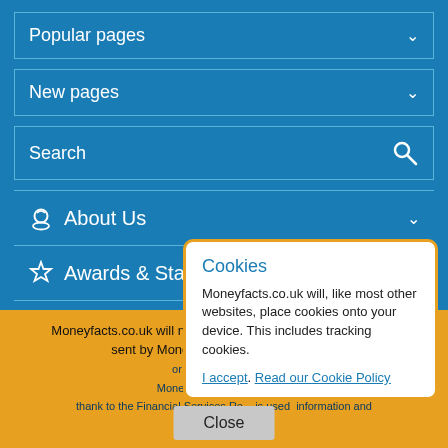Popular pages
New pages
Search
About Us
Awards & Star Ratings
Legal
Moneyfacts.co.uk will ne  y financial product. Any calls  alls sent by Moneyfacts.co.uk  s– or inter… news.c  Moneyfa MR(B)s and soli  thank to the Financial Services Re  is used information and
Cookies
Moneyfacts.co.uk will, like most other websites, place cookies onto your device. This includes tracking cookies.
I accept. Read our Cookie Policy
Close